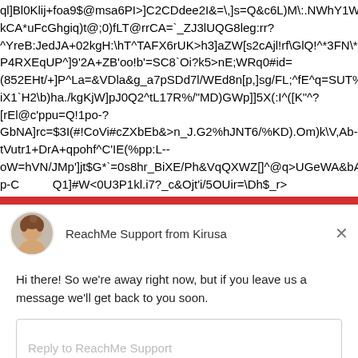ql]Bl0Klij+foa9$@msa6PI>]C2CDdee2I&=\,]s=Q&c6L)M\:.NWhY1WXE@
kCA*uFcGhgiq)t@;0)fLT@rrCA=`_ZJ3lUQG8leg:rr?
^YreB:JedJA+02kgH:\hT^TAFX6rUK>h3]aZW[s2cAjl!rf\GlQ!^*3FN\*n)nJ
P4RXEqUP^]9'2A+ZB'oo!b'=SC8`Oi?k5>nE;WRq0#id=
(852EHt/+]P^La=&VDla&g_a7pSDd7l/WEd8n[p,]sg/FL;^fE^q=SUT%8oJ
iX1`H2\b)ha./kgKjW]pJ0Q2^tL17R%/"MD)GWp]]5X(:I^([K"^?
[rEl@c'ppu=Q!1po-?
GbNA]rc=$3I(#!CoVi#cZXbEb&>n_J.G2%hJNT6/%KD).Om)k\V,Ab-
tVutr1+DrA+qpohf^C'IE(%pp:L--
oW=hVN/JMp']jt$G*`=0s8hr_BiXE/Ph&VqQXWZ[]^@q>UGeWA&bAGm
p-C...Q1]#W<0U3P1kl.i7?_c&Ojt'i/5OUir=\Dh$_r>
[Figure (screenshot): Chat support widget from ReachMe Support powered by Kirusa/Drift, showing an away message and reply input field]
ReachMe Support from Kirusa
Hi there! So we're away right now, but if you leave us a message we'll get back to you soon.
Reply to ReachMe Support
Chat ⚡ by Drift